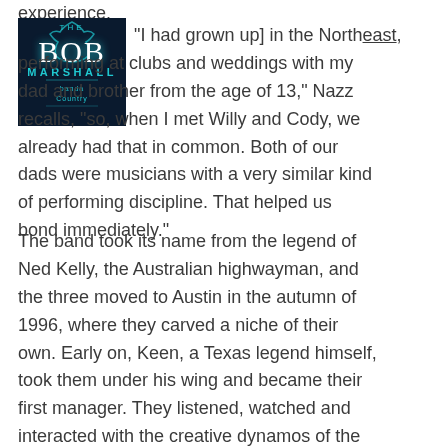experience.
[Figure (logo): The Bob Marshall logo — dark blue background with glowing teal wolf silhouette, bold white BOB text, teal MARSHALL text below]
“I had [grown up] in the Northeast, performing at clubs and weddings with my dad and brother from the age of 13,” Nazz recalls, “so, when I met Willy and Cody, we already had that in common. Both of our dads were musicians with a very similar kind of performing discipline. That helped us bond immediately.”
The band took its name from the legend of Ned Kelly, the Australian highwayman, and the three moved to Austin in the autumn of 1996, where they carved a niche of their own. Early on, Keen, a Texas legend himself, took them under his wing and became their first manager. They listened, watched and interacted with the creative dynamos of the outlaw country scene – Townes Van Zandt, Steve Earle, Billy Joe Shaver, Guy Clark and